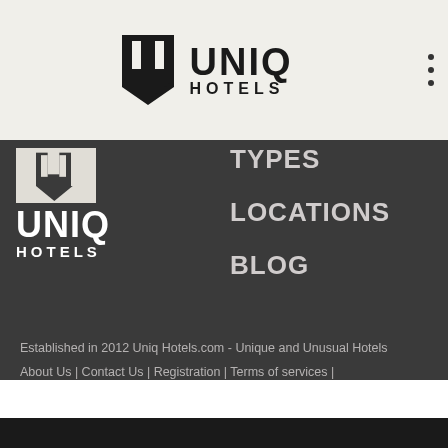[Figure (logo): UNIQ Hotels logo in top header bar - black U icon with UNIQ HOTELS text]
TYPES
LOCATIONS
BLOG
[Figure (logo): UNIQ HOTELS logo in dark navigation sidebar - white text on dark background]
Established in 2012 Uniq Hotels.com - Unique and Unusual Hotels
About Us | Contact Us | Registration | Terms of services | Privacy policy | Facebook | Instagram
Exclusive Member of Mediavine Travel